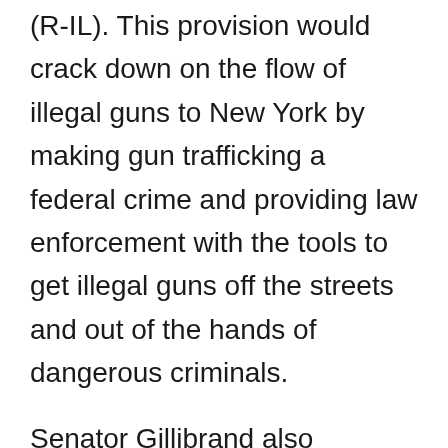(R-IL). This provision would crack down on the flow of illegal guns to New York by making gun trafficking a federal crime and providing law enforcement with the tools to get illegal guns off the streets and out of the hands of dangerous criminals.
Senator Gillibrand also introduced Amendment Number 4771, which would give federal law enforcement officials the ability to implement and enforce a rule requiring gun dealers to conduct and maintain an inventory of all of their firearms. This would help identify the gun dealers who are trafficking illegal guns and